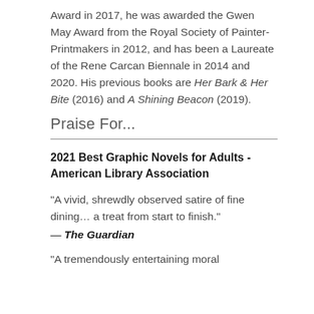Award in 2017, he was awarded the Gwen May Award from the Royal Society of Painter-Printmakers in 2012, and has been a Laureate of the Rene Carcan Biennale in 2014 and 2020. His previous books are Her Bark & Her Bite (2016) and A Shining Beacon (2019).
Praise For...
2021 Best Graphic Novels for Adults - American Library Association
"A vivid, shrewdly observed satire of fine dining… a treat from start to finish."
— The Guardian
"A tremendously entertaining moral